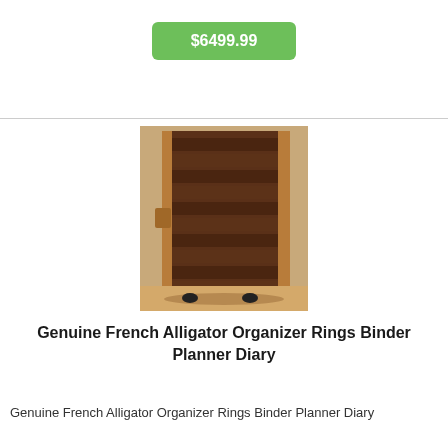$6499.99
[Figure (photo): Photo of a genuine French alligator leather organizer rings binder planner diary, showing brown alligator-textured cover with tan leather border, displayed upright on a light wooden floor.]
Genuine French Alligator Organizer Rings Binder Planner Diary
Genuine French Alligator Organizer Rings Binder Planner Diary